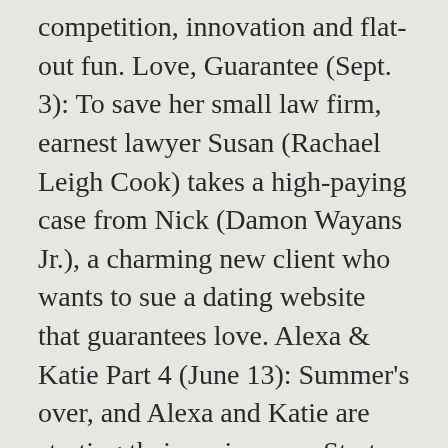competition, innovation and flat-out fun. Love, Guarantee (Sept. 3): To save her small law firm, earnest lawyer Susan (Rachael Leigh Cook) takes a high-paying case from Nick (Damon Wayans Jr.), a charming new client who wants to sue a dating website that guarantees love. Alexa & Katie Part 4 (June 13): Summer's over, and Alexa and Katie are starting their senior year. Start-Up (TBA): Young entrepreneurs aspiring to launch virtual dreams into reality compete for success and love in the cutthroat world of Korea's high-tech industry. Reckoning: Season 1 (May 1): When an infamous serial killer who has gone dormant for years is believed to have killed again, two men closely linked to the case are set on a dangerous